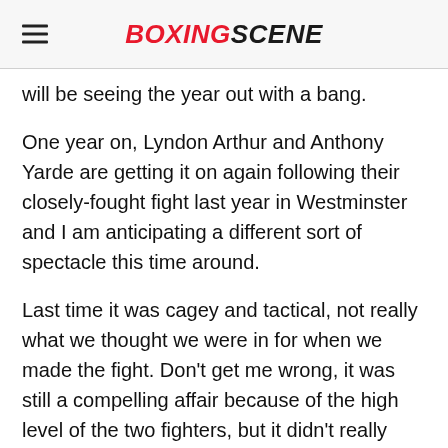BOXINGSCENE
will be seeing the year out with a bang.
One year on, Lyndon Arthur and Anthony Yarde are getting it on again following their closely-fought fight last year in Westminster and I am anticipating a different sort of spectacle this time around.
Last time it was cagey and tactical, not really what we thought we were in for when we made the fight. Don't get me wrong, it was still a compelling affair because of the high level of the two fighters, but it didn't really catch fire bar a few flickers in the final round.